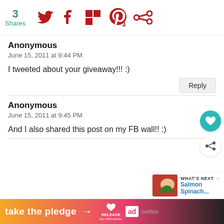3 Shares [Twitter] [Facebook] [Flipboard] [Pinterest 3] [Other]
Anonymous
June 15, 2011 at 9:44 PM
I tweeted about your giveaway!!! :)
Anonymous
June 15, 2011 at 9:45 PM
And I also shared this post on my FB wall!! :)
Lynda
June 15, 2011 at 10:22 PM
[Figure (infographic): WHAT'S NEXT arrow with thumbnail image showing Salmon Spinach...]
[Figure (infographic): Ad banner: take the pledge -> RELEASE logo, Ed logo, GrowWhat text]